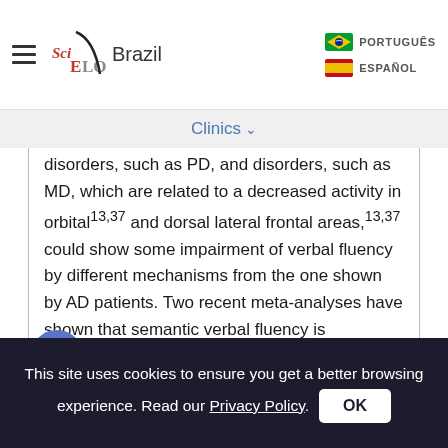SciELO Brazil — PORTUGUÊS / ESPAÑOL
Clinics
disorders, such as PD, and disorders, such as MD, which are related to a decreased activity in orbital13,37 and dorsal lateral frontal areas,13,37 could show some impairment of verbal fluency by different mechanisms from the one shown by AD patients. Two recent meta-analyses have shown that semantic verbal fluency is significantly reduced in AD patients when compared to MD and PD patients.14,21 In addition, one of these studies presented data confirming that semantic fluency in depression is not only related to executive impairment but could also be a sign of a broader
This site uses cookies to ensure you get a better browsing experience. Read our Privacy Policy. OK